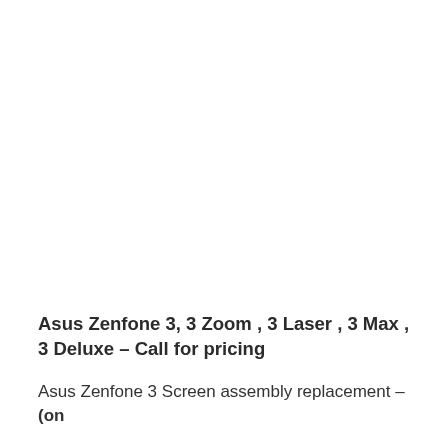Asus Zenfone 3, 3 Zoom , 3 Laser , 3 Max , 3 Deluxe – Call for pricing
Asus Zenfone 3 Screen assembly replacement – (on